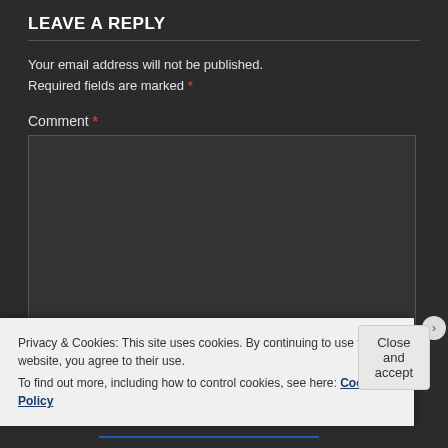LEAVE A REPLY
Your email address will not be published. Required fields are marked *
Comment *
[Figure (screenshot): Empty comment text area input box with dark background]
Privacy & Cookies: This site uses cookies. By continuing to use this website, you agree to their use. To find out more, including how to control cookies, see here: Cookie Policy
Close and accept